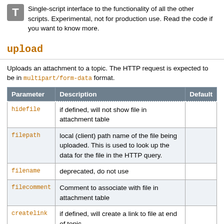Single-script interface to the functionality of all the other scripts. Experimental, not for production use. Read the code if you want to know more.
upload
Uploads an attachment to a topic. The HTTP request is expected to be in multipart/form-data format.
| Parameter | Description | Default |
| --- | --- | --- |
| hidefile | if defined, will not show file in attachment table |  |
| filepath | local (client) path name of the file being uploaded. This is used to look up the data for the file in the HTTP query. |  |
| filename | deprecated, do not use |  |
| filecomment | Comment to associate with file in attachment table |  |
| createlink | if defined, will create a link to file at end of topic |  |